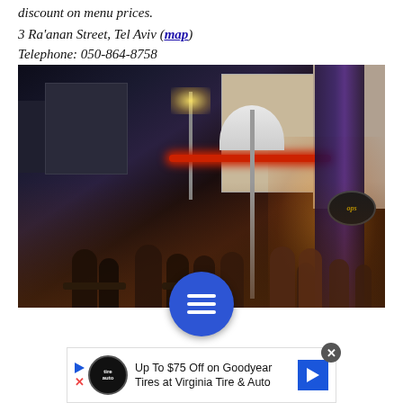discount on menu prices.
3 Ra’anan Street, Tel Aviv (map)
Telephone: 050-864-8758
[Figure (photo): Night-time outdoor seating of a busy restaurant or bar in Tel Aviv. Many patrons seated at tables outdoors, with a white patio umbrella, a purple/blue draped curtain, warm lighting from the storefront on the right, and city buildings in the background.]
[Figure (infographic): Blue circular button with three horizontal white bars (hamburger menu icon)]
Up To $75 Off on Goodyear Tires at Virginia Tire & Auto